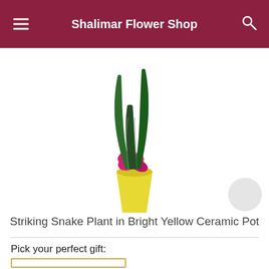Shalimar Flower Shop
[Figure (photo): Snake plant with tall dark green pointed leaves and a pink/magenta flower in a bright yellow ceramic pot, photographed on white background]
Striking Snake Plant in Bright Yellow Ceramic Pot
Pick your perfect gift: